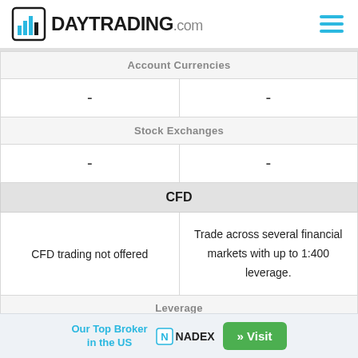DAYTRADING.com
| Account Currencies | Account Currencies |
| --- | --- |
| - | - |
| Stock Exchanges | Stock Exchanges |
| - | - |
| CFD | CFD |
| CFD trading not offered | Trade across several financial markets with up to 1:400 leverage. |
| Leverage | Leverage |
|  | 1:500 |
| FTSE Spread | FTSE Spread |
|  | 1.4 |
Our Top Broker in the US
NADEX
» Visit